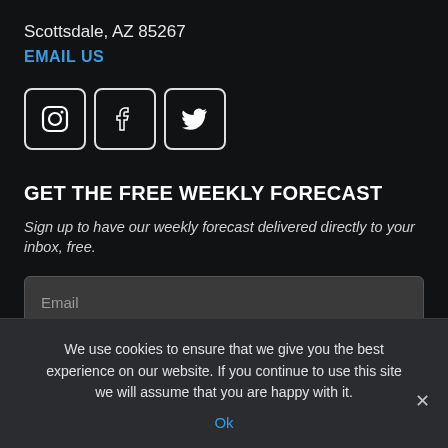Scottsdale, AZ 85267
EMAIL US
[Figure (other): Three social media icons: Instagram, Facebook, Twitter in rounded square outlines]
GET THE FREE WEEKLY FORECAST
Sign up to have our weekly forecast delivered directly to your inbox, free.
Email (input field placeholder)
SUBSCRIBE (button, partially visible)
We use cookies to ensure that we give you the best experience on our website. If you continue to use this site we will assume that you are happy with it.
Ok